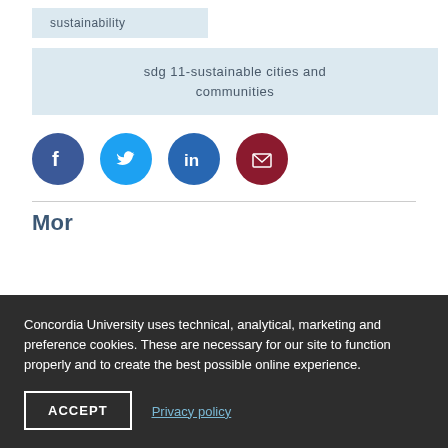sustainability
sdg 11-sustainable cities and communities
[Figure (other): Social media sharing icons: Facebook (blue circle with f), Twitter (light blue circle with bird), LinkedIn (blue circle with in), Email (dark red circle with envelope)]
Concordia University uses technical, analytical, marketing and preference cookies. These are necessary for our site to function properly and to create the best possible online experience.
ACCEPT  Privacy policy